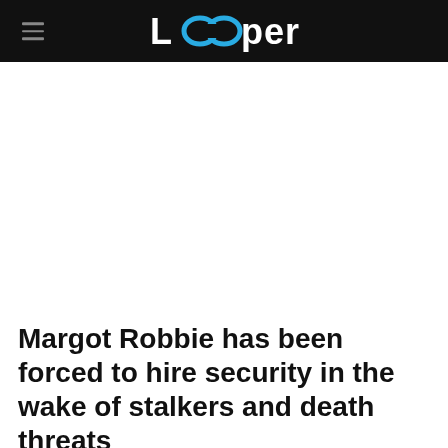Looper
Margot Robbie has been forced to hire security in the wake of stalkers and death threats